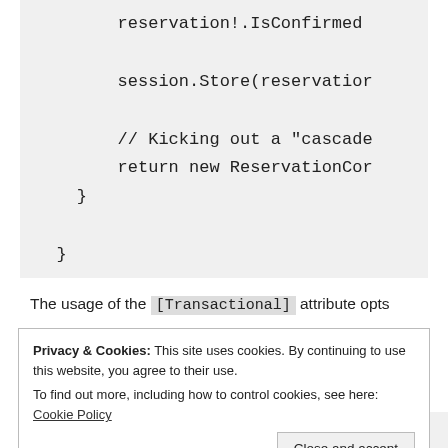[Figure (screenshot): Code block showing C# code with reservation!.IsConfirmed, session.Store(reservation), a comment '// Kicking out a "cascade', return new ReservationCon', and closing braces]
The usage of the [Transactional] attribute opts
Privacy & Cookies: This site uses cookies. By continuing to use this website, you agree to their use.
To find out more, including how to control cookies, see here: Cookie Policy
Close and accept
iDocumentSession.SaveChangesAsync(